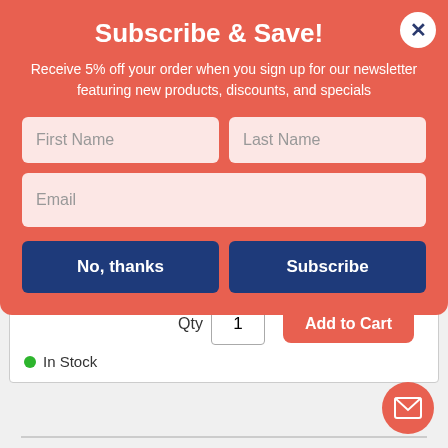Subscribe & Save!
Receive 5% off your order when you sign up for our newsletter featuring new products, discounts, and specials
First Name
Last Name
Email
No, thanks
Subscribe
Qty  1
Add to Cart
In Stock
Mediumweight Polystyrene Cutlery, Knife, White, 10 Boxes of 100/Carton